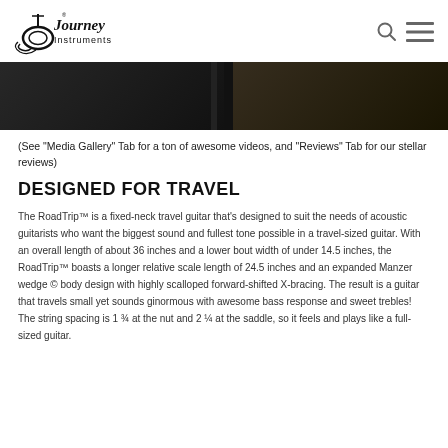Journey Instruments
[Figure (photo): Dark hero/banner image showing partial view of a guitar or performance scene, mostly black background]
(See “Media Gallery” Tab for a ton of awesome videos, and “Reviews” Tab for our stellar reviews)
DESIGNED FOR TRAVEL
The RoadTrip™ is a fixed-neck travel guitar that’s designed to suit the needs of acoustic guitarists who want the biggest sound and fullest tone possible in a travel-sized guitar. With an overall length of about 36 inches and a lower bout width of under 14.5 inches, the RoadTrip™ boasts a longer relative scale length of 24.5 inches and an expanded Manzer wedge © body design with highly scalloped forward-shifted X-bracing. The result is a guitar that travels small yet sounds ginormous with awesome bass response and sweet trebles! The string spacing is 1 ¾ at the nut and 2 ¼ at the saddle, so it feels and plays like a full-sized guitar.